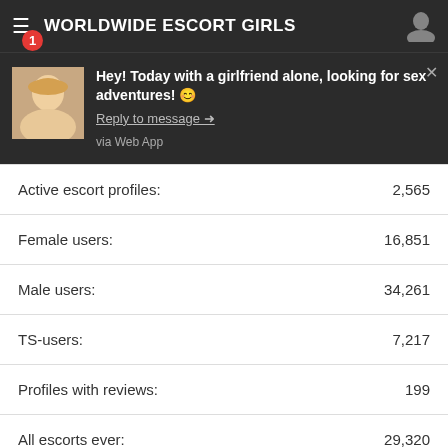WORLDWIDE ESCORT GIRLS
[Figure (screenshot): Push notification popup with photo of blonde woman, message: Hey! Today with a girlfriend alone, looking for sex adventures! Reply to message → via Web App]
|  |  |
| --- | --- |
| Active escort profiles: | 2,565 |
| Female users: | 16,851 |
| Male users: | 34,261 |
| TS-users: | 7,217 |
| Profiles with reviews: | 199 |
| All escorts ever: | 29,320 |
More site stats >
WorldWide Escorts Guide   Help